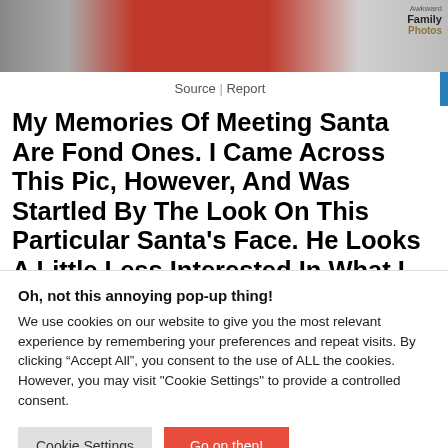[Figure (photo): Partial photo showing people including someone in a red shirt, with Awkward Family Photos watermark in top right corner]
Source | Report
My Memories Of Meeting Santa Are Fond Ones. I Came Across This Pic, However, And Was Startled By The Look On This Particular Santa's Face. He Looks A Little Less Interested In What I Want For Christmas, And A Little More Interested In How I'd Taste In A Stew.
Oh, not this annoying pop-up thing!
We use cookies on our website to give you the most relevant experience by remembering your preferences and repeat visits. By clicking "Accept All", you consent to the use of ALL the cookies. However, you may visit "Cookie Settings" to provide a controlled consent.
Cookie Settings | Go on then!